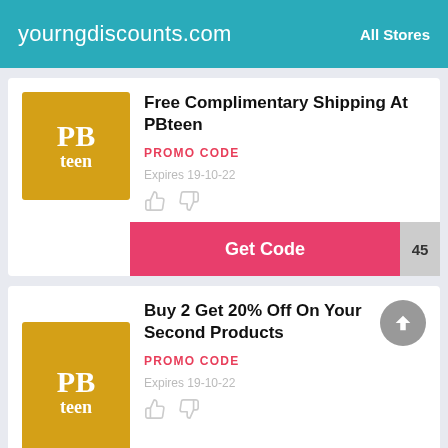yourngdiscounts.com   All Stores
Free Complimentary Shipping At PBteen
PROMO CODE
Expires 19-10-22
Get Code   45
Buy 2 Get 20% Off On Your Second Products
PROMO CODE
Expires 19-10-22